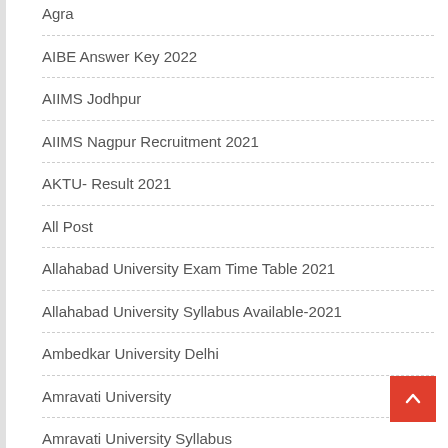Agra
AIBE Answer Key 2022
AIIMS Jodhpur
AIIMS Nagpur Recruitment 2021
AKTU- Result 2021
All Post
Allahabad University Exam Time Table 2021
Allahabad University Syllabus Available-2021
Ambedkar University Delhi
Amravati University
Amravati University Syllabus
Amravati University Time Table
Andhra Pradesh class 10 Time Table 2021